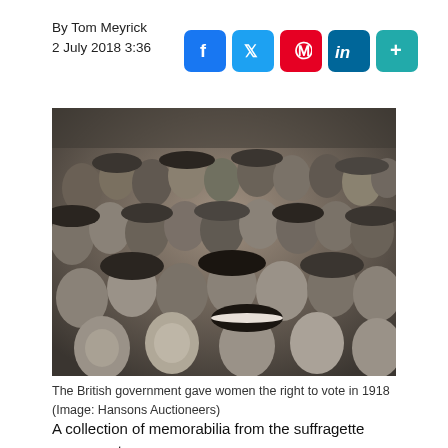By Tom Meyrick
2 July 2018 3:36
[Figure (other): Social media sharing icons: Facebook (blue), Twitter (light blue), Pinterest (red), LinkedIn (teal), Plus/share (teal)]
[Figure (photo): Black and white historical photograph of a large crowd of women, many wearing hats, gathered together — suffragettes circa 1918.]
The British government gave women the right to vote in 1918 (Image: Hansons Auctioneers)
A collection of memorabilia from the suffragette movement